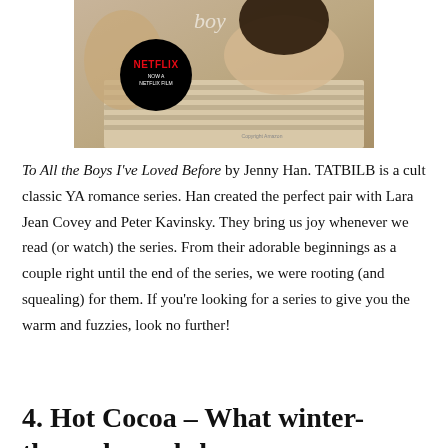[Figure (photo): Book cover of 'To All the Boys I've Loved Before' showing two people on a bed with a black Netflix badge reading 'NETFLIX NOW A NETFLIX FILM']
To All the Boys I've Loved Before by Jenny Han. TATBILB is a cult classic YA romance series. Han created the perfect pair with Lara Jean Covey and Peter Kavinsky. They bring us joy whenever we read (or watch) the series. From their adorable beginnings as a couple right until the end of the series, we were rooting (and squealing) for them. If you're looking for a series to give you the warm and fuzzies, look no further!
4. Hot Cocoa – What winter-themed novels have you